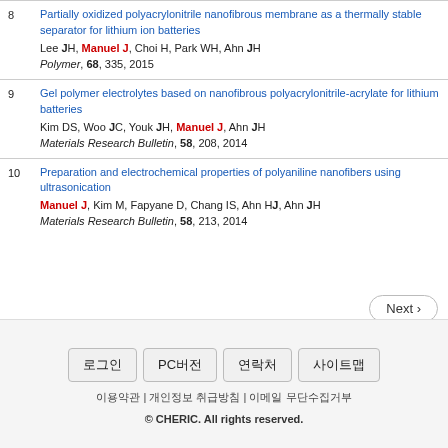8 Partially oxidized polyacrylonitrile nanofibrous membrane as a thermally stable separator for lithium ion batteries. Lee JH, Manuel J, Choi H, Park WH, Ahn JH. Polymer, 68, 335, 2015
9 Gel polymer electrolytes based on nanofibrous polyacrylonitrile-acrylate for lithium batteries. Kim DS, Woo JC, Youk JH, Manuel J, Ahn JH. Materials Research Bulletin, 58, 208, 2014
10 Preparation and electrochemical properties of polyaniline nanofibers using ultrasonication. Manuel J, Kim M, Fapyane D, Chang IS, Ahn HJ, Ahn JH. Materials Research Bulletin, 58, 213, 2014
Next
로그인 | PC버전 | 연락처 | 사이트맵
이용약관 | 개인정보 취급방침 | 이메일 무단수집거부
© CHERIC. All rights reserved.